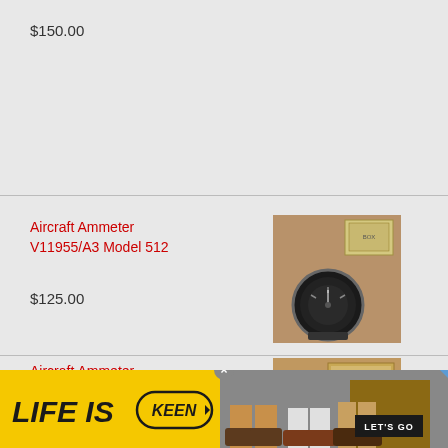$150.00
Aircraft Ammeter V11955/A3 Model 512
[Figure (photo): Photo of Aircraft Ammeter V11955/A3 Model 512 in box]
$125.00
Aircraft Ammeter S546-3-50 Weston
[Figure (photo): Photo of Aircraft Ammeter S546-3-50 Weston in box]
$150.00
[Figure (screenshot): KEEN advertisement banner: LIFE IS KEEN with LET'S GO button]